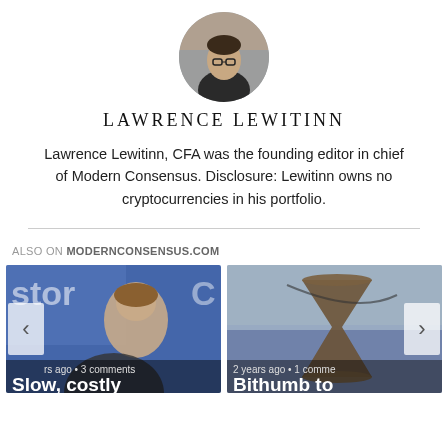[Figure (photo): Circular portrait photo of Lawrence Lewitinn, a young man with glasses wearing a dark jacket, outdoors in front of a fence.]
LAWRENCE LEWITINN
Lawrence Lewitinn, CFA was the founding editor in chief of Modern Consensus. Disclosure: Lewitinn owns no cryptocurrencies in his portfolio.
ALSO ON MODERNCONSENSUS.COM
[Figure (screenshot): Two linked article cards side by side. Left card shows a man on a TV set with text 'rs ago • 3 comments' and title 'Slow, costly'. Right card shows an hourglass image with text '2 years ago • 1 comme' and title 'Bithumb to'. Navigation arrows on left and right sides.]